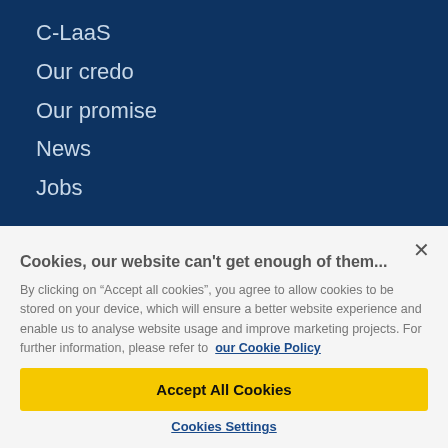C-LaaS
Our credo
Our promise
News
Jobs
Cookies, our website can't get enough of them...
By clicking on "Accept all cookies", you agree to allow cookies to be stored on your device, which will ensure a better website experience and enable us to analyse website usage and improve marketing projects. For further information, please refer to our Cookie Policy
Accept All Cookies
Cookies Settings